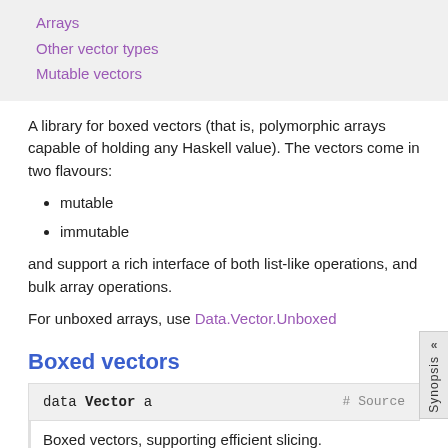Arrays
Other vector types
Mutable vectors
A library for boxed vectors (that is, polymorphic arrays capable of holding any Haskell value). The vectors come in two flavours:
mutable
immutable
and support a rich interface of both list-like operations, and bulk array operations.
For unboxed arrays, use Data.Vector.Unboxed
Boxed vectors
data Vector a   # Source
Boxed vectors, supporting efficient slicing.